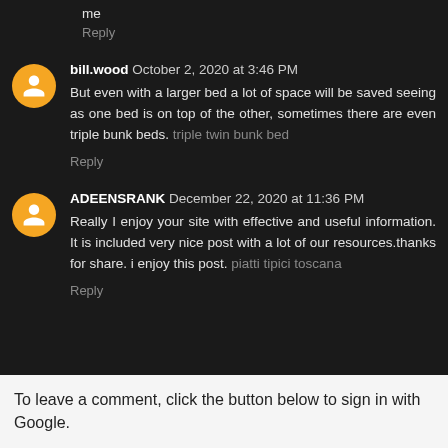me
Reply
bill.wood October 2, 2020 at 3:46 PM
But even with a larger bed a lot of space will be saved seeing as one bed is on top of the other, sometimes there are even triple bunk beds. triple twin bunk bed
Reply
ADEENSRANK December 22, 2020 at 11:36 PM
Really I enjoy your site with effective and useful information. It is included very nice post with a lot of our resources.thanks for share. i enjoy this post. piatti tipici toscana
Reply
To leave a comment, click the button below to sign in with Google.